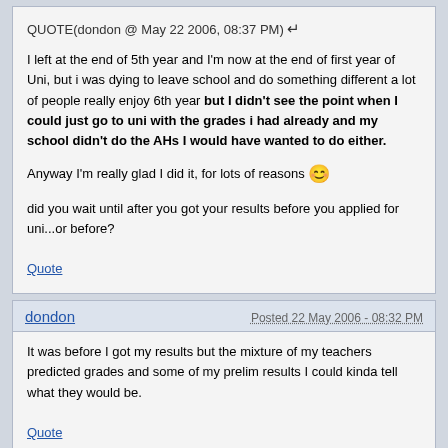QUOTE(dondon @ May 22 2006, 08:37 PM)
I left at the end of 5th year and I'm now at the end of first year of Uni, but i was dying to leave school and do something different a lot of people really enjoy 6th year but I didn't see the point when I could just go to uni with the grades i had already and my school didn't do the AHs I would have wanted to do either.
Anyway I'm really glad I did it, for lots of reasons 😊
did you wait until after you got your results before you applied for uni...or before?
Quote
dondon
Posted 22 May 2006 - 08:32 PM
It was before I got my results but the mixture of my teachers predicted grades and some of my prelim results I could kinda tell what they would be.
Quote
John
Posted 23 May 2006 - 10:49 AM